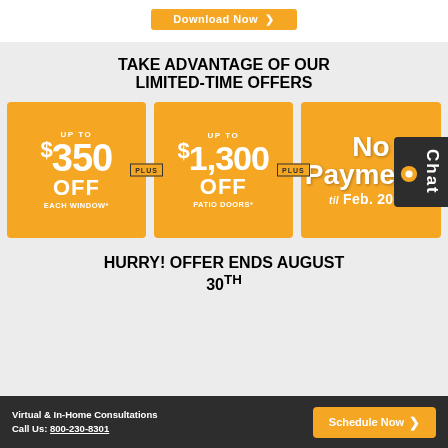[Figure (other): Orange 'Download Now' button at top]
TAKE ADVANTAGE OF OUR LIMITED-TIME OFFERS
[Figure (infographic): Three orange offer boxes: UP TO $350 OFF EACH WINDOW*, UP TO $1,300 OFF PATIO DOORS*, No Payments til Feb. 2024*]
HURRY! OFFER ENDS AUGUST 30TH
Virtual & In-Home Consultations Call Us: 800-230-8301 | Schedule Now